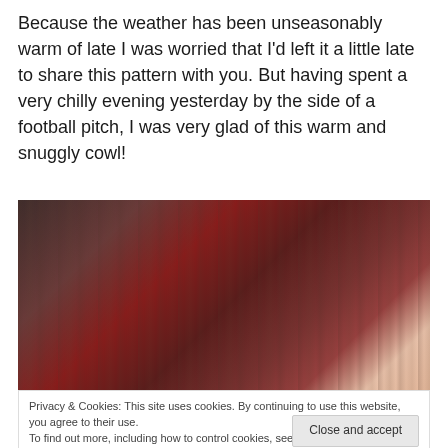Because the weather has been unseasonably warm of late I was worried that I'd left it a little late to share this pattern with you. But having spent a very chilly evening yesterday by the side of a football pitch, I was very glad of this warm and snuggly cowl!
[Figure (photo): Close-up photo of a woman with red/burgundy hair against a wooden fence background, showing her face from the forehead down to about eye level.]
Privacy & Cookies: This site uses cookies. By continuing to use this website, you agree to their use.
To find out more, including how to control cookies, see here: Cookie Policy
[Figure (photo): Partial photo at the bottom of the page showing green/yellow tones, likely a continuation of the person's outfit.]